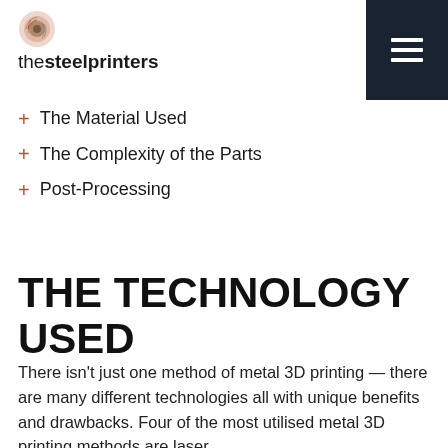thesteelprinters
The Material Used
The Complexity of the Parts
Post-Processing
THE TECHNOLOGY USED
There isn't just one method of metal 3D printing — there are many different technologies all with unique benefits and drawbacks. Four of the most utilised metal 3D printing methods are laser